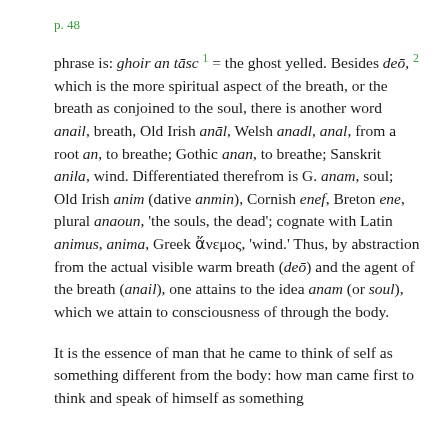p. 48
phrase is: ghoir an tāsc 1 = the ghost yelled. Besides deō, 2 which is the more spiritual aspect of the breath, or the breath as conjoined to the soul, there is another word anail, breath, Old Irish anāl, Welsh anadl, anal, from a root an, to breathe; Gothic anan, to breathe; Sanskrit anila, wind. Differentiated therefrom is G. anam, soul; Old Irish anim (dative anmin), Cornish enef, Breton ene, plural anaoun, 'the souls, the dead'; cognate with Latin animus, anima, Greek ἄνεμος, 'wind.' Thus, by abstraction from the actual visible warm breath (deō) and the agent of the breath (anail), one attains to the idea anam (or soul), which we attain to consciousness of through the body.
It is the essence of man that he came to think of self as something different from the body: how man came first to think and speak of himself as something